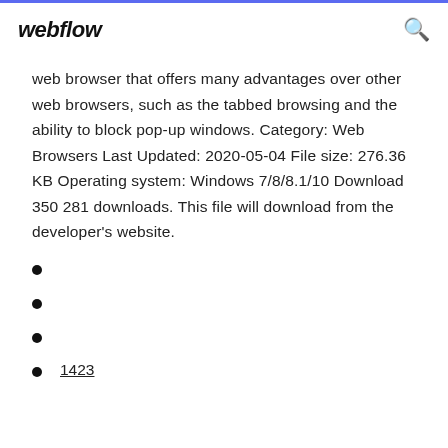webflow
web browser that offers many advantages over other web browsers, such as the tabbed browsing and the ability to block pop-up windows. Category: Web Browsers Last Updated: 2020-05-04 File size: 276.36 KB Operating system: Windows 7/8/8.1/10 Download 350 281 downloads. This file will download from the developer's website.
1423